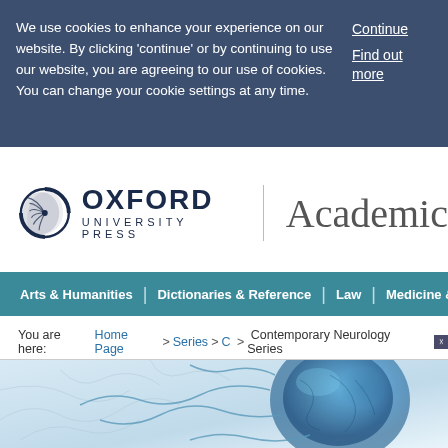We use cookies to enhance your experience on our website. By clicking 'continue' or by continuing to use our website, you are agreeing to our use of cookies. You can change your cookie settings at any time.
Continue
Find out more
[Figure (logo): Oxford University Press Academic logo with circular feather icon]
Arts & Humanities | Dictionaries & Reference | Law | Medicine & Health | Sci...
You are here: Home Page > Series > C > Contemporary Neurology Series
[Figure (photo): Close-up artistic illustration of a neuron cell body with blue coloring and branching dendrites on a light background]